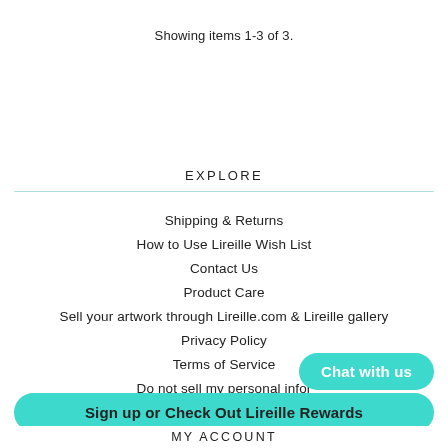Showing items 1-3 of 3.
EXPLORE
Shipping & Returns
How to Use Lireille Wish List
Contact Us
Product Care
Sell your artwork through Lireille.com & Lireille gallery
Privacy Policy
Terms of Service
Do not sell my personal infor...
Chat with us
Sign up or Check Out Lireille Rewards
MY ACCOUNT